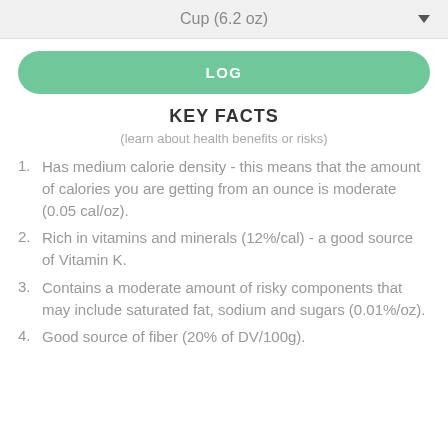Cup (6.2 oz)
LOG
KEY FACTS
(learn about health benefits or risks)
Has medium calorie density - this means that the amount of calories you are getting from an ounce is moderate (0.05 cal/oz).
Rich in vitamins and minerals (12%/cal) - a good source of Vitamin K.
Contains a moderate amount of risky components that may include saturated fat, sodium and sugars (0.01%/oz).
Good source of fiber (20% of DV/100g).